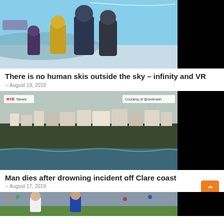[Figure (photo): Video game screenshot showing armored characters in a snowy alien landscape, with a black bar on the right side]
There is no human skis outside the sky – infinity and VR
August 19, 2019
[Figure (photo): Coastal Irish town on a cliff above rough sea, with RTÉ News and Courtesy of @olobrown badges]
Man dies after drowning incident off Clare coast
August 17, 2019
[Figure (photo): Football/soccer match photo showing players on a pitch, partially cropped at bottom]